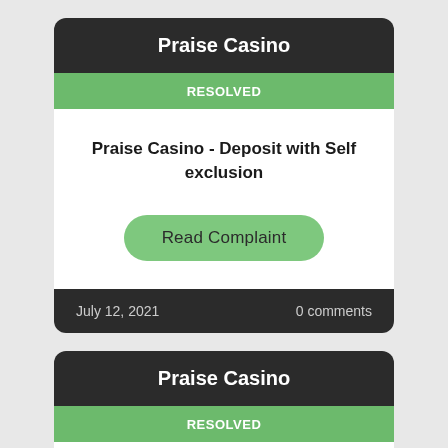Praise Casino
RESOLVED
Praise Casino - Deposit with Self exclusion
Read Complaint
July 12, 2021
0 comments
Praise Casino
RESOLVED
Praise Casino - Missing Deposit